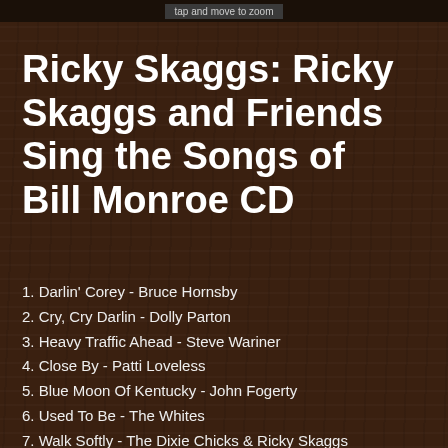tap and move to zoom
Ricky Skaggs: Ricky Skaggs and Friends Sing the Songs of Bill Monroe CD
1. Darlin' Corey - Bruce Hornsby
2. Cry, Cry Darlin - Dolly Parton
3. Heavy Traffic Ahead - Steve Wariner
4. Close By - Patti Loveless
5. Blue Moon Of Kentucky - John Fogerty
6. Used To Be - The Whites
7. Walk Softly - The Dixie Chicks & Ricky Skaggs
8. My Little Georgia Rose - Travis Tritt
9. I Am A Pilgrim - Charlie Daniels